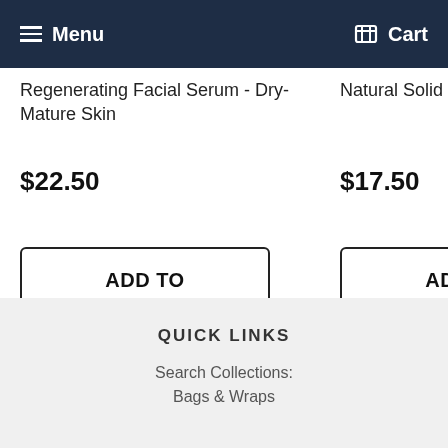Menu  Cart
Regenerating Facial Serum - Dry-Mature Skin
$22.50
Natural Solid Conditioner Bar
$17.50
Spiced G... Lotion Ba...
$10.50
ADD TO CART
ADD TO CART
AD... CA...
QUICK LINKS
Search Collections:
Bags & Wraps